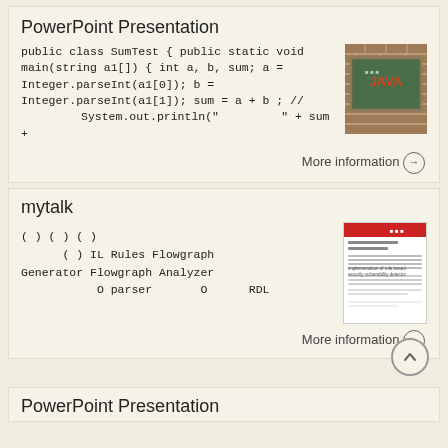PowerPoint Presentation
public class SumTest { public static void main(string a1[]) { int a, b, sum; a = Integer.parseInt(a1[0]);          b          = Integer.parseInt(a1[1]); sum = a + b ; //           System.out.println("         " + sum +
[Figure (photo): Photo of a Java programming chalkboard/sign on a brick wall background]
More information →
mytalk
(       )   (       )                (       )        (       )              IL  Rules  Flowgraph Generator  Flowgraph  Analyzer              O parser         O        RDL
[Figure (screenshot): Document thumbnail showing a report title page with red header]
More information →
PowerPoint Presentation